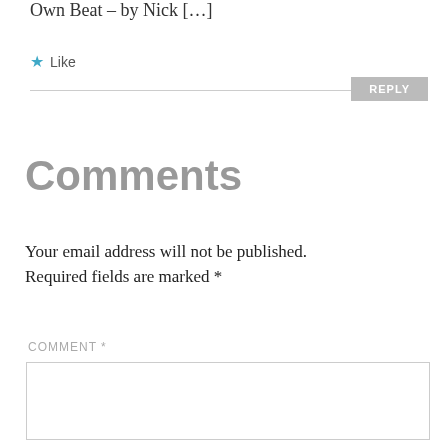Own Beat – by Nick [...]
★ Like
REPLY
Comments
Your email address will not be published. Required fields are marked *
COMMENT *